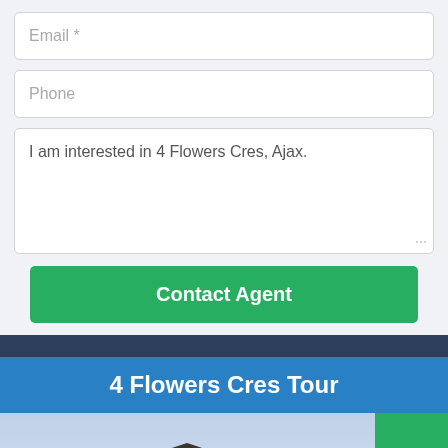Email *
Phone
I am interested in 4 Flowers Cres, Ajax.
Contact Agent
4 Flowers Cres Tour
[Figure (photo): Exterior photo of a house at dusk showing roofline with decorative gable, round window, and chimney against a blue sky. A green panel with a right-arrow icon is visible to the right.]